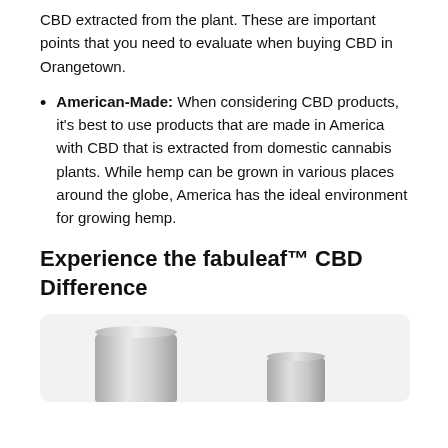CBD extracted from the plant. These are important points that you need to evaluate when buying CBD in Orangetown.
American-Made: When considering CBD products, it's best to use products that are made in America with CBD that is extracted from domestic cannabis plants. While hemp can be grown in various places around the globe, America has the ideal environment for growing hemp.
Experience the fabuleaf™ CBD Difference
[Figure (photo): Two silver metallic cylindrical CBD product containers on a light gray background]